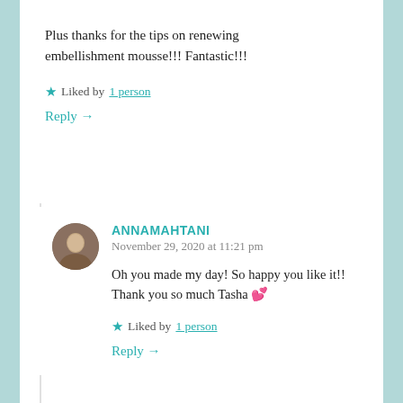Plus thanks for the tips on renewing embellishment mousse!!! Fantastic!!!
★ Liked by 1 person
Reply →
ANNAMAHTANI
November 29, 2020 at 11:21 pm
Oh you made my day! So happy you like it!! Thank you so much Tasha 💕
★ Liked by 1 person
Reply →